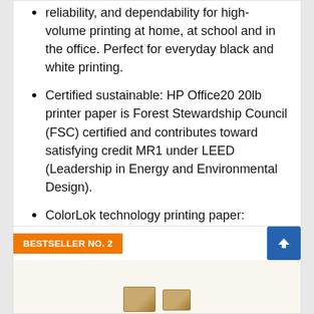reliability, and dependability for high-volume printing at home, at school and in the office. Perfect for everyday black and white printing.
Certified sustainable: HP Office20 20lb printer paper is Forest Stewardship Council (FSC) certified and contributes toward satisfying credit MR1 under LEED (Leadership in Energy and Environmental Design).
ColorLok technology printing paper: ColorLok technology provides more vivid colors, bolder blacks and faster drying.
$18.88 ✓Prime
Buy on Amazon
BESTSELLER NO. 2
[Figure (photo): Partial view of a product (boxes) at the bottom of the page, partially cut off]